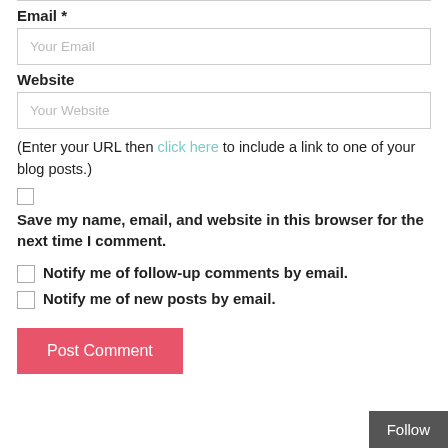Email *
Your Email
Website
Your Website
(Enter your URL then click here to include a link to one of your blog posts.)
Save my name, email, and website in this browser for the next time I comment.
Notify me of follow-up comments by email.
Notify me of new posts by email.
Post Comment
Follow